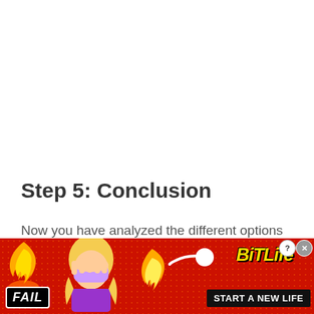Step 5: Conclusion
Now you have analyzed the different options available to you, in this step its time to focus and draw some conclusions.
[Figure (illustration): Advertisement banner for BitLife mobile game. Red speckled background with 'FAIL' badge in bottom-left, facepalm character emoji in center-left, flame graphics, sperm icon, BitLife logo in yellow italic text, 'START A NEW LIFE' button in black, and close/question mark buttons in top-right corner.]